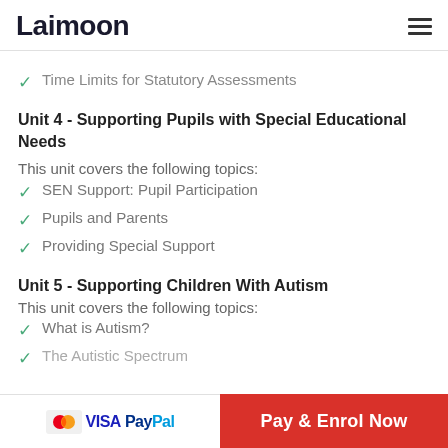Laimoon
Time Limits for Statutory Assessments
Unit 4 - Supporting Pupils with Special Educational Needs
This unit covers the following topics:
SEN Support: Pupil Participation
Pupils and Parents
Providing Special Support
Unit 5 - Supporting Children With Autism
This unit covers the following topics:
What is Autism?
The Autistic Spectrum
VISA PayPal  Pay & Enrol Now